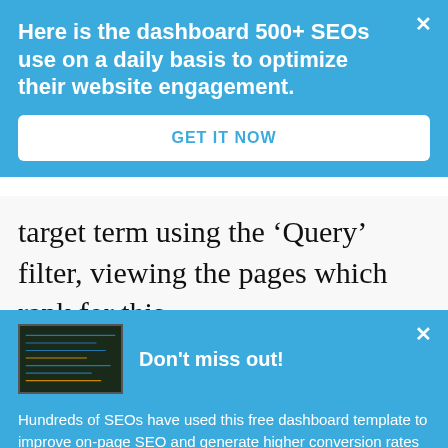Here is the dashboard 500+ SEOs use on a daily basis to optimize their website engagement.
GET IT NOW
target term using the ‘Query’ filter, viewing the pages which rank for this
Don't miss out!
Hundreds of SEOs have used this free dashboard template to improve on-page SEO and generate higher conversion rates on their landing pages.
GET FREE DASHBOARD